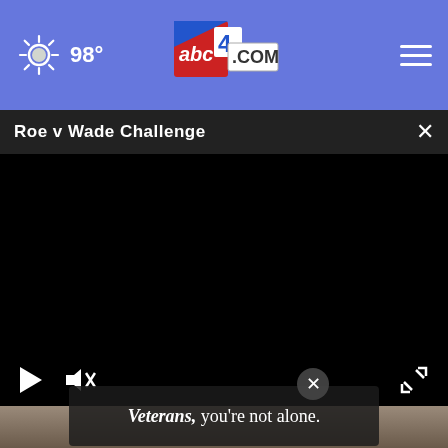98° abc4.com
Roe v Wade Challenge
[Figure (screenshot): Black video player area with play button and mute/volume icon on the left, fullscreen icon on the right]
[Figure (photo): Partial photo of a person with gray hair and glasses, partially visible at the bottom]
Veterans, you're not alone.